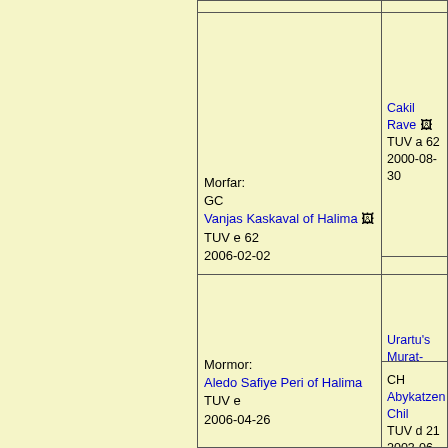[Figure (organizational-chart): Pedigree chart (family tree) for cats, showing grandparents and great-grandparents. Left column shows Morfar (Vanjas Kaskaval of Halima, TUV e 62, 2006-02-02) and Mormor (Aledo Safiye Peri of Halima, TUV e, 2006-04-26). Right column shows Cakil Rave (TUV a 62, 2000-08-30), Name-It Finnish (TUV g 62, 2001-06-27), Urartu's Murat- (TUV d 63, 2005-04-16), and Abykatzen Chil (TUV d 21, 2003-06-23).]